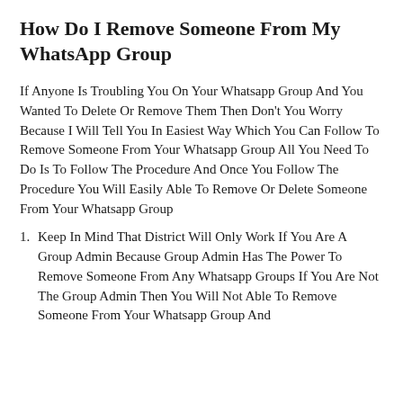How Do I Remove Someone From My WhatsApp Group
If Anyone Is Troubling You On Your Whatsapp Group And You Wanted To Delete Or Remove Them Then Don't You Worry Because I Will Tell You In Easiest Way Which You Can Follow To Remove Someone From Your Whatsapp Group All You Need To Do Is To Follow The Procedure And Once You Follow The Procedure You Will Easily Able To Remove Or Delete Someone From Your Whatsapp Group
Keep In Mind That District Will Only Work If You Are A Group Admin Because Group Admin Has The Power To Remove Someone From Any Whatsapp Groups If You Are Not The Group Admin Then You Will Not Able To Remove Someone From Your Whatsapp Group And